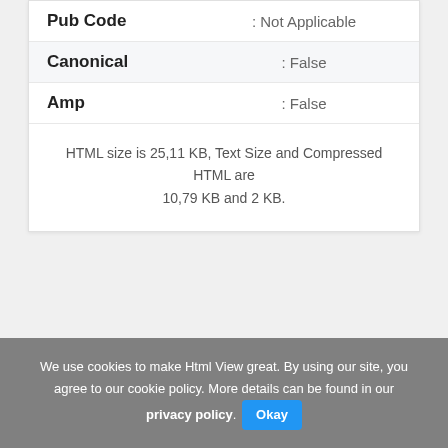| Field | Value |
| --- | --- |
| Pub Code | : Not Applicable |
| Canonical | : False |
| Amp | : False |
HTML size is 25,11 KB, Text Size and Compressed HTML are 10,79 KB and 2 KB.
We use cookies to make Html View great. By using our site, you agree to our cookie policy. More details can be found in our privacy policy. Okay